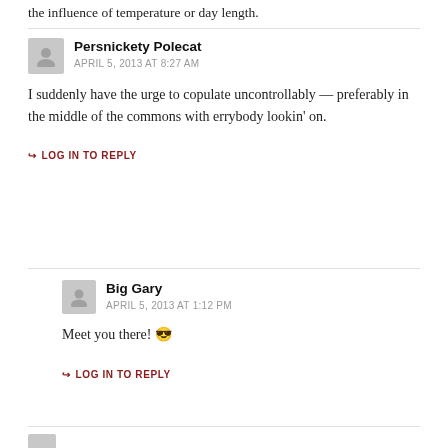the influence of temperature or day length.
Persnickety Polecat
APRIL 5, 2013 AT 8:27 AM
I suddenly have the urge to copulate uncontrollably — preferably in the middle of the commons with errybody lookin' on.
LOG IN TO REPLY
Big Gary
APRIL 5, 2013 AT 1:12 PM
Meet you there! 😎
LOG IN TO REPLY